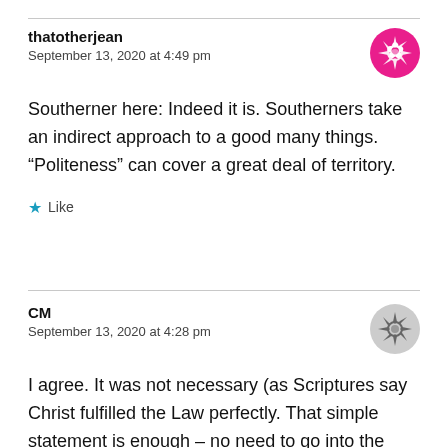thatotherjean
September 13, 2020 at 4:49 pm
Southerner here: Indeed it is. Southerners take an indirect approach to a good many things. “Politeness” can cover a great deal of territory.
★ Like
CM
September 13, 2020 at 4:28 pm
I agree. It was not necessary (as Scriptures say Christ fulfilled the Law perfectly. That simple statement is enough – no need to go into the reeds on that). Also, all